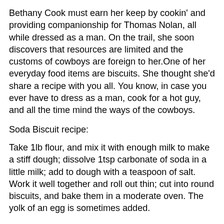Bethany Cook must earn her keep by cookin' and providing companionship for Thomas Nolan, all while dressed as a man. On the trail, she soon discovers that resources are limited and the customs of cowboys are foreign to her.One of her everyday food items are biscuits. She thought she'd share a recipe with you all. You know, in case you ever have to dress as a man, cook for a hot guy, and all the time mind the ways of the cowboys.
Soda Biscuit recipe:
Take 1lb flour, and mix it with enough milk to make a stiff dough; dissolve 1tsp carbonate of soda in a little milk; add to dough with a teaspoon of salt. Work it well together and roll out thin; cut into round biscuits, and bake them in a moderate oven. The yolk of an egg is sometimes added.
Also, she thought she'd share a few things about proper manners, or lack thereof, while on the trail.
Chuckwagon Etiquette: